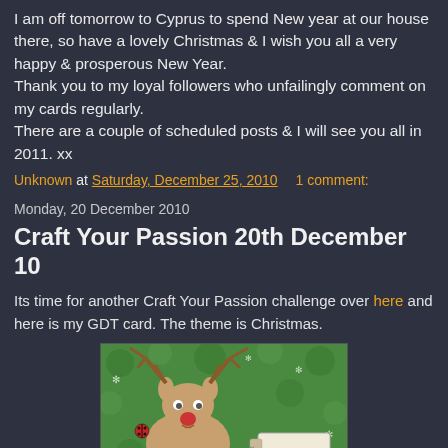I am off tomorrow to Cyprus to spend New year at our house there, so have a lovely Christmas & I wish you all a very happy & prosperous New Year. Thank you to my loyal followers who unfailingly comment on my cards regularly. There are a couple of scheduled posts & I will see you all in 2011. xx
Unknown at Saturday, December 25, 2010   1 comment:
Monday, 20 December 2010
Craft Your Passion 20th December 10
Its time for another Craft Your Passion challenge over here and here is my GDT card. The theme is Christmas.
[Figure (photo): A handmade Christmas card featuring a cartoon reindeer with antlers on a green background with snowflakes and holly. Ladybugs are decorating the card. A tag in the bottom right reads 'Tis the season' with '25/12' on the side tab.]